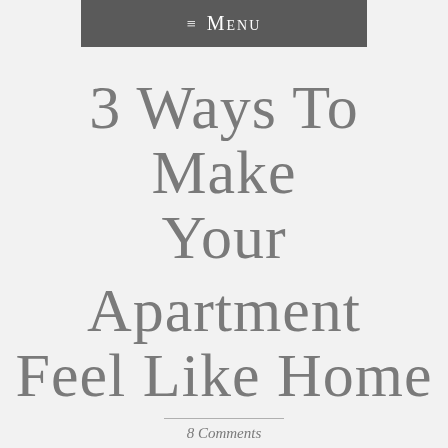≡ Menu
3 Ways To Make Your Apartment Feel Like Home
8 Comments